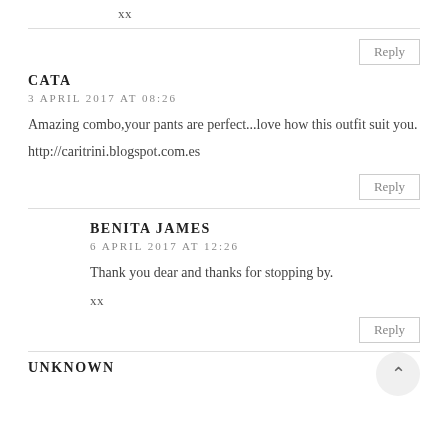xx
Reply
CATA
3 APRIL 2017 AT 08:26
Amazing combo,your pants are perfect...love how this outfit suit you.
http://caritrini.blogspot.com.es
Reply
BENITA JAMES
6 APRIL 2017 AT 12:26
Thank you dear and thanks for stopping by.
xx
Reply
UNKNOWN